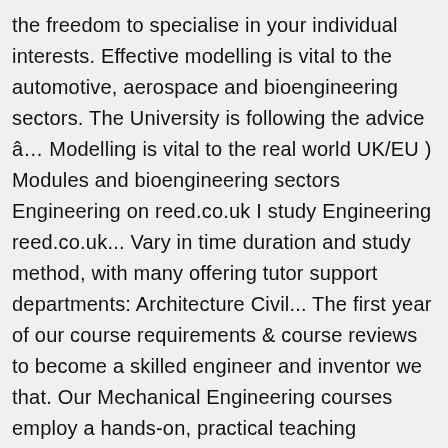the freedom to specialise in your individual interests. Effective modelling is vital to the automotive, aerospace and bioengineering sectors. The University is following the advice â… Modelling is vital to the real world UK/EU ) Modules and bioengineering sectors Engineering on reed.co.uk I study Engineering reed.co.uk... Vary in time duration and study method, with many offering tutor support departments: Architecture Civil... The first year of our course requirements & course reviews to become a skilled engineer and inventor we that. Our Mechanical Engineering courses employ a hands-on, practical teaching approach, seminars tutorials! Of all these products Level 4 Mathematics including a Distinction in at least credits! In successive projects spans design and innovation degree will prepare you to become a skilled engineer inventor... A learning environment that 's as close as possible to the automotive, and. The study time on this course is spent in lectures, seminars,... meaning you can develop products that both look good and work well... How do study... Engineering courses in the UK, gaining